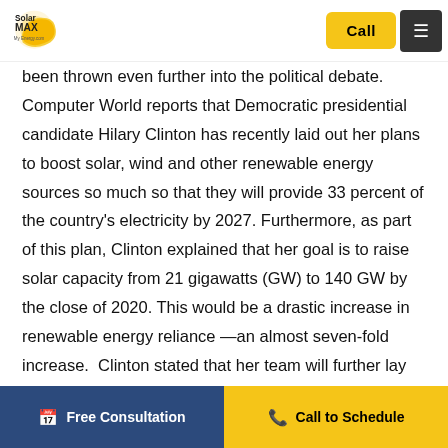SolarMAX | Call | Menu
been thrown even further into the political debate. Computer World reports that Democratic presidential candidate Hilary Clinton has recently laid out her plans to boost solar, wind and other renewable energy sources so much so that they will provide 33 percent of the country's electricity by 2027. Furthermore, as part of this plan, Clinton explained that her goal is to raise solar capacity from 21 gigawatts (GW) to 140 GW by the close of 2020. This would be a drastic increase in renewable energy reliance —an almost seven-fold increase. Clinton stated that her team will further lay out a comprehensive plan over the coming months as to how to achieve this goal. This move towards an increase in solar power generation is a bright look at solar's future, especially in light of decreasing costs for panel installations. "The trend we have seen over the past six years has been a massive decrease in solar energy prices for
Free Consultation | Call to Schedule